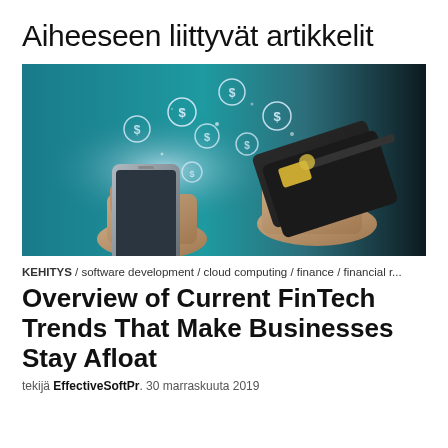Aiheeseen liittyvät artikkelit
[Figure (photo): Person holding a smartphone with floating dollar sign icons and another person holding a credit card, fintech concept image with teal/dark background]
KEHITYS / software development / cloud computing / finance / financial r...
Overview of Current FinTech Trends That Make Businesses Stay Afloat
tekijä EffectiveSoftPr. 30 marraskuuta 2019